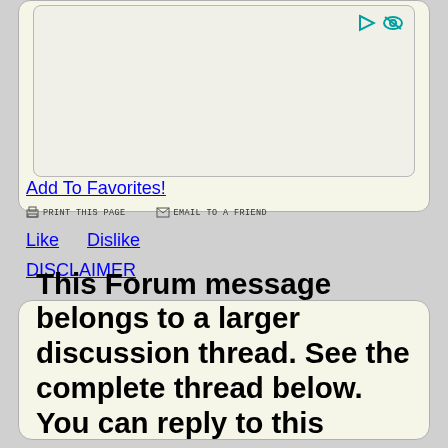[Figure (screenshot): Text area box with two small teal icons (play and eye) in the top-right corner]
Add To Favorites!
PRINT THIS PAGE   EMAIL TO A FRIEND
Like   Dislike
DISCLAIMER
This Forum message belongs to a larger discussion thread. See the complete thread below. You can reply to this message!